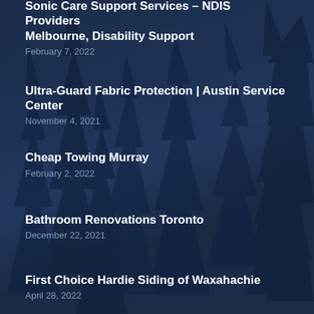Sonic Care Support Services – NDIS Providers Melbourne, Disability Support
February 7, 2022
Ultra-Guard Fabric Protection | Austin Service Center
November 4, 2021
Cheap Towing Murray
February 2, 2022
Bathroom Renovations Toronto
December 22, 2021
First Choice Hardie Siding of Waxahachie
April 28, 2022